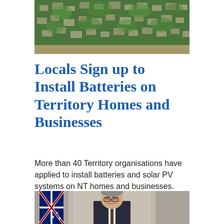[Figure (photo): Aerial view of a densely forested hillside neighbourhood with houses and trees]
Locals Sign up to Install Batteries on Territory Homes and Businesses
More than 40 Territory organisations have applied to install batteries and solar PV systems on NT homes and businesses. The Territory Labor Governm...
[Figure (photo): A man in a suit standing in front of an Australian flag, looking serious]